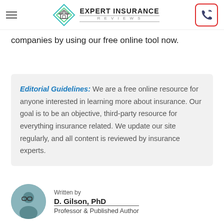Expert Insurance Reviews
companies by using our free online tool now.
Editorial Guidelines: We are a free online resource for anyone interested in learning more about insurance. Our goal is to be an objective, third-party resource for everything insurance related. We update our site regularly, and all content is reviewed by insurance experts.
Written by
D. Gilson, PhD
Professor & Published Author